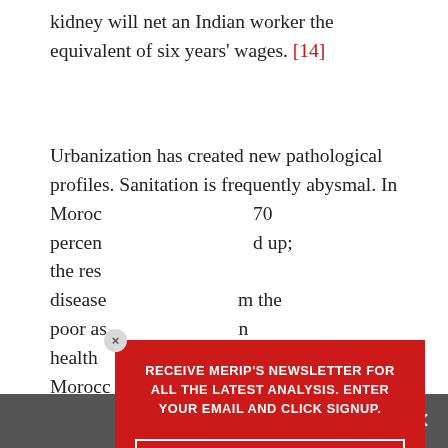kidney will net an Indian worker the equivalent of six years' wages. [14]
Urbanization has created new pathological profiles. Sanitation is frequently abysmal. In Morocco [popup overlay obscures text] 70 percent [obscured] d up; the res[obscured] disease[obscured] m the poor as[obscured] n health [obscured] ss. Morocco[obscured] dred million [obscured] at of Europe[obscured]
[Figure (infographic): Newsletter signup popup modal with red background. Contains bold white uppercase text: 'RECEIVE MERIP'S NEWSLETTER FOR ALL THE LATEST ANALYSIS. ENTER YOUR EMAIL AND CLICK SIGNUP.' Below is an email input field with placeholder 'Your Email' and a 'Sign Up' button. A small close (x) button appears at top-left of the popup.]
Occupa[obscured] ne
Share This ∨  ×